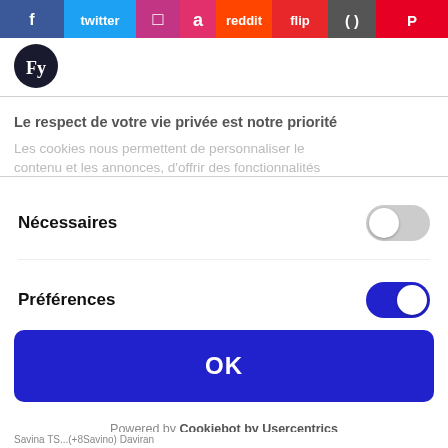[Figure (screenshot): Social media sharing icons bar at top: Facebook, Twitter, Instagram, Pinterest, Reddit, Flipboard, and other social icons in a horizontal row]
[Figure (logo): FY logo: dark circular badge with white letters F and y]
Le respect de votre vie privée est notre priorité
Les cookies nous permettent de personnaliser le contenu et les annonces, d'offrir des fonctionnalités
Nécessaires
Préférences
Statistiques
OK
Powered by Cookiebot by Usercentrics
Savina TS...+8Savino Daviran